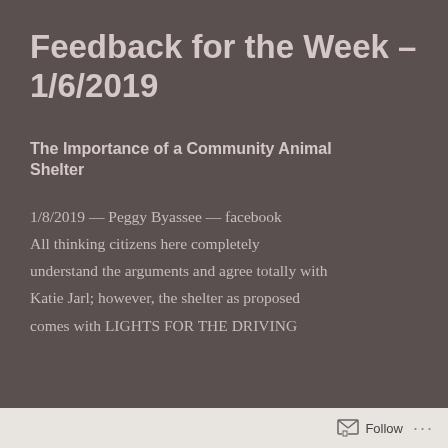Feedback for the Week – 1/6/2019
The Importance of a Community Animal Shelter
1/8/2019 — Peggy Byassee — facebook
All thinking citizens here completely understand the arguments and agree totally with Katie Jarl; however, the shelter as proposed comes with LIGHTS FOR THE DRIVING
Follow